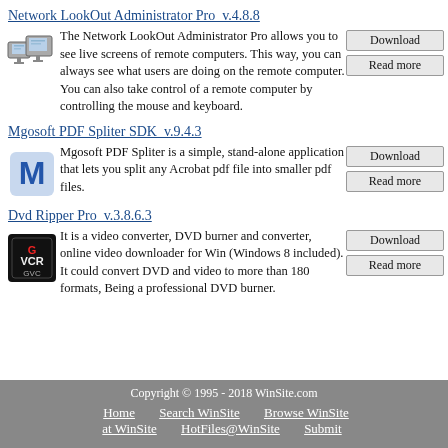Network LookOut Administrator Pro  v.4.8.8
[Figure (logo): Network LookOut Administrator Pro icon: two computer monitors]
The Network LookOut Administrator Pro allows you to see live screens of remote computers. This way, you can always see what users are doing on the remote computer. You can also take control of a remote computer by controlling the mouse and keyboard.
Mgosoft PDF Spliter SDK  v.9.4.3
[Figure (logo): Mgosoft PDF Spliter SDK icon: blue letter M]
Mgosoft PDF Spliter is a simple, stand-alone application that lets you split any Acrobat pdf file into smaller pdf files.
Dvd Ripper Pro  v.3.8.6.3
[Figure (logo): Dvd Ripper Pro icon: GVC logo on black background]
It is a video converter, DVD burner and converter, online video downloader for Win (Windows 8 included). It could convert DVD and video to more than 180 formats, Being a professional DVD burner.
Copyright © 1995 - 2018 WinSite.com
Home   Search WinSite   Browse WinSite at WinSite   HotFiles@WinSite   Submit